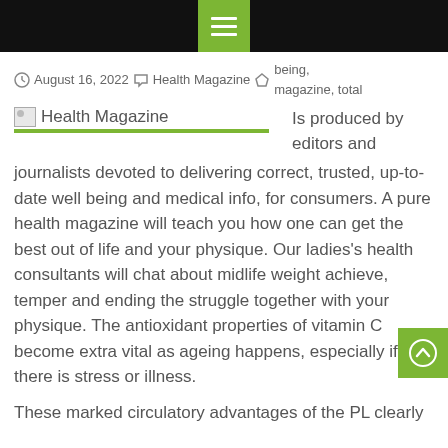Menu icon / navigation bar
August 16, 2022  Health Magazine  being, magazine, total
[Figure (logo): Health Magazine logo image placeholder with green underline]
Is produced by editors and journalists devoted to delivering correct, trusted, up-to-date well being and medical info, for consumers. A pure health magazine will teach you how one can get the best out of life and your physique. Our ladies's health consultants will chat about midlife weight achieve, temper and ending the struggle together with your physique. The antioxidant properties of vitamin C become extra vital as ageing happens, especially if there is stress or illness.
These marked circulatory advantages of the PL clearly